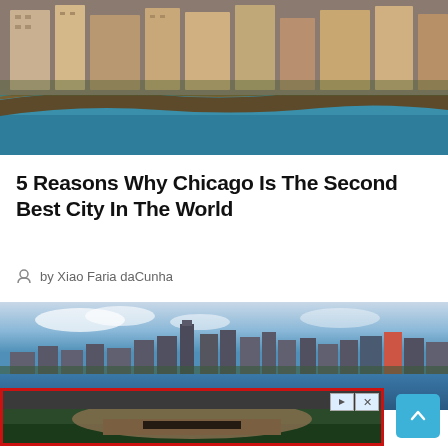[Figure (photo): Aerial view of Chicago showing buildings, roads, and Lake Michigan shoreline from above]
5 Reasons Why Chicago Is The Second Best City In The World
by Xiao Faria daCunha
[Figure (photo): Panoramic skyline view of Chicago with tall skyscrapers including Willis Tower against a blue sky and lake]
[Figure (photo): Advertisement banner showing a stadium/arena aerial view with red border and playback controls]